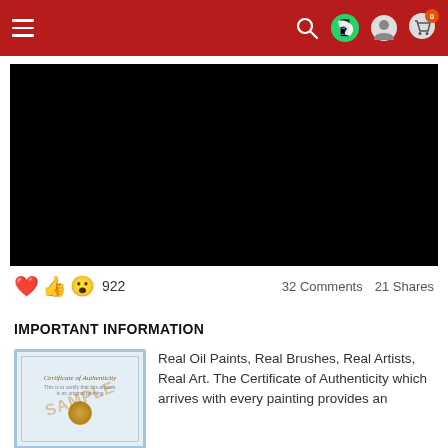Navigation bar with hamburger menu, search, WhatsApp, account, and cart icons
[Figure (screenshot): Black video player embed on white card background]
922  32 Comments  21 Shares
IMPORTANT INFORMATION
[Figure (photo): Sample Certificate of Authenticity with blue decorative border and gold seal, watermarked SAMPLE]
Real Oil Paints, Real Brushes, Real Artists, Real Art. The Certificate of Authenticity which arrives with every painting provides an